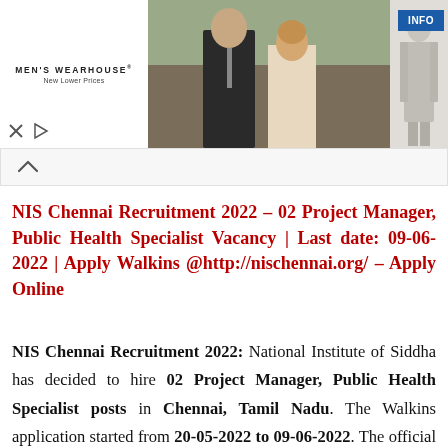[Figure (photo): Men's Wearhouse advertisement banner showing a couple in formal wear on the left, a man in a grey suit on the right, and an INFO button]
NIS Chennai Recruitment 2022 – 02 Project Manager, Public Health Specialist Vacancy | Last date: 09-06-2022 | Apply Walkins @http://nischennai.org/ – Apply Online
NIS Chennai Recruitment 2022: National Institute of Siddha has decided to hire 02 Project Manager, Public Health Specialist posts in Chennai, Tamil Nadu. The Walkins application started from 20-05-2022 to 09-06-2022. The official notification and